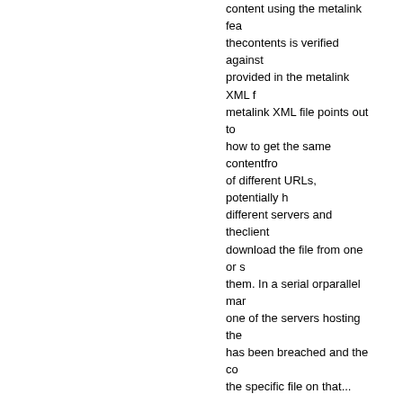content using the metalink feature thecontents is verified against provided in the metalink XML f metalink XML file points out to how to get the same contentfrom of different URLs, potentially h different servers and theclient download the file from one or s them. In a serial orparallel man one of the servers hosting the has been breached and the co the specific file on that...
2021-12-14    CVE-2021-4044    Internally libssl in OpenSSL ca X509_verify_cert() on the clien verify a certificate supplied by That function may return a neg return value to indicate an inte (for example out of memory). S negative return value is mishan OpenSSL and will cause an IC (such as SSL_connect() or SSL_do_handshake()) to not in